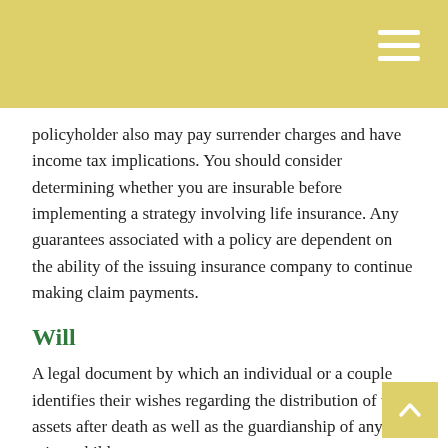policyholder also may pay surrender charges and have income tax implications. You should consider determining whether you are insurable before implementing a strategy involving life insurance. Any guarantees associated with a policy are dependent on the ability of the issuing insurance company to continue making claim payments.
Will
A legal document by which an individual or a couple identifies their wishes regarding the distribution of their assets after death as well as the guardianship of any minor children.
Withholding
The process by which an employer holds back part of an employee's compensation to pay his or her share